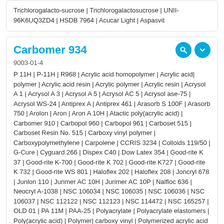Trichlorogalacto-sucrose | Trichlorogalactosucrose | UNII-96K6UQ3ZD4 | HSDB 7964 | Acucar Light | Aspasvit
Carbomer 934
9003-01-4
P 11H | P-11H | R968 | Acrylic acid homopolymer | Acrylic acid| polymer | Acrylic acid resin | Acrylic polymer | Acrylic resin | Acrysol A 1 | Acrysol A 3 | Acrysol A 5 | Acrysol AC 5 | Acrysol ase-75 | Acrysol WS-24 | Antiprex A | Antiprex 461 | Arasorb S 100F | Arasorb 750 | Arolon | Aron | Aron A 10H | Atactic poly(acrylic acid) | Carbomer 910 | Carbopol 960 | Carbopol 961 | Carboset 515 | Carboset Resin No. 515 | Carboxy vinyl polymer | Carboxypolymethylene | Carpolene | CCRIS 3234 | Colloids 119/50 | G-Cure | Cyguard 266 | Dispex C40 | Dow Latex 354 | Good-rite K 37 | Good-rite K-700 | Good-rite K 702 | Good-rite K727 | Good-rite K 732 | Good-rite WS 801 | Haloflex 202 | Haloflex 208 | Joncryl 678 | Junlon 110 | Jurimer AC 10H | Jurimer AC 10P | Nalfloc 636 | Neocryl A-1038 | NSC 106034 | NSC 106035 | NSC 106036 | NSC 106037 | NSC 112122 | NSC 112123 | NSC 114472 | NSC 165257 | OLD 01 | PA 11M | PAA-25 | Polyacrylate | Polyacrylate elastomers | Poly(acrylic acid) | Polymer| carboxy vinyl | Polymerized acrylic acid | Polytex 973 | Primal ASE 60 | Propenoic acid polymer | Racryl | Revacryl A 191 | Rohagit SD 15 | Sokalan PAS | Solidokoll N | Synthemul 90-588 | TB 1131 | Tecpol | Texcryl | Versicol E15 | Versicol E 7 | Versicol E9 | Versicol K 11 | Versicol S 25 | Viscalex HV 30 | Viscalex HV 54 | WB 954 | WTol | Zelec